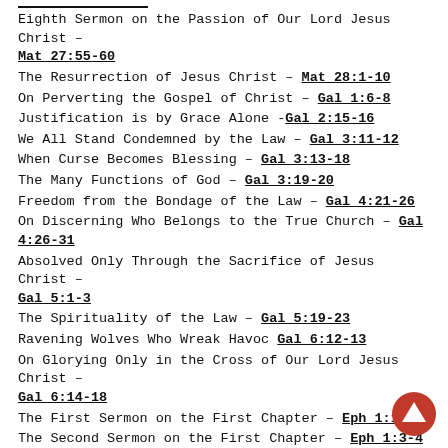Eighth Sermon on the Passion of Our Lord Jesus Christ – Mat 27:55-60
The Resurrection of Jesus Christ – Mat 28:1-10
On Perverting the Gospel of Christ – Gal 1:6-8
Justification is by Grace Alone - Gal 2:15-16
We All Stand Condemned by the Law – Gal 3:11-12
When Curse Becomes Blessing – Gal 3:13-18
The Many Functions of God – Gal 3:19-20
Freedom from the Bondage of the Law – Gal 4:21-26
On Discerning Who Belongs to the True Church – Gal 4:26-31
Absolved Only Through the Sacrifice of Jesus Christ – Gal 5:1-3
The Spirituality of the Law – Gal 5:19-23
Ravening Wolves Who Wreak Havoc Gal 6:12-13
On Glorying Only in the Cross of Our Lord Jesus Christ – Gal 6:14-18
The First Sermon on the First Chapter – Eph 1:1-3
The Second Sermon on the First Chapter – Eph 1:3-4
The Third Sermon on the First Chapter – Eph 1:4-6
The Fourth Sermon on the First Chapter – Eph 1:7-10